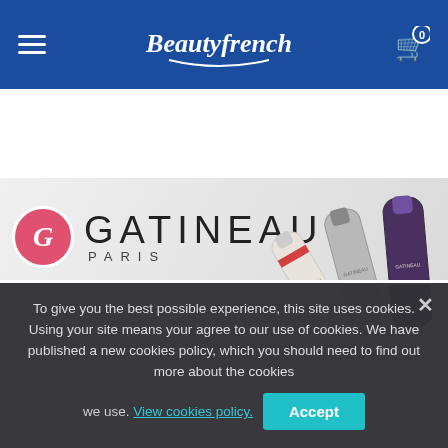[Figure (screenshot): Blue navigation bar with hamburger menu on left, BeautyFrench logo in center, shopping cart with 0 badge on right]
[Figure (photo): Gatineau Paris brand banner with pink circle logo, GATINEAU PARIS text, and skincare product tubes on gray background]
[Figure (photo): Pascal Morabito Best Seller banner with dark serif text and two fragrance bottles on gray background]
To give you the best possible experience, this site uses cookies. Using your site means your agree to our use of cookies. We have published a new cookies policy, which you should need to find out more about the cookies we use. View cookies policy. Accept